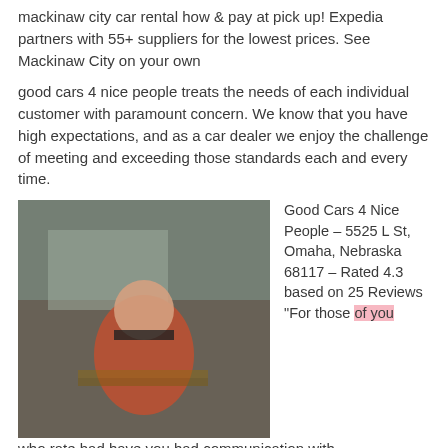mackinaw city car rental how & pay at pick up! Expedia partners with 55+ suppliers for the lowest prices. See Mackinaw City on your own
good cars 4 nice people treats the needs of each individual customer with paramount concern. We know that you have high expectations, and as a car dealer we enjoy the challenge of meeting and exceeding those standards each and every time.
[Figure (photo): A person in a red shirt talking on a phone at a car dealership desk]
Good Cars 4 Nice People – 5525 L St, Omaha, Nebraska 68117 – Rated 4.3 based on 25 Reviews "For those of you who rate bad have you had communication with...
6 Reviews of Good Cars 4 Nice People. search 33 cars for sale. "Very quick response and helpful